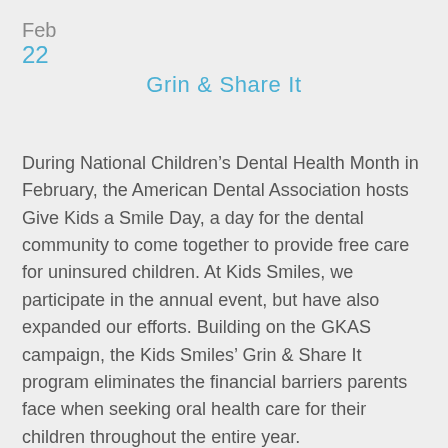Feb
22
Grin & Share It
During National Children’s Dental Health Month in February, the American Dental Association hosts Give Kids a Smile Day, a day for the dental community to come together to provide free care for uninsured children. At Kids Smiles, we participate in the annual event, but have also expanded our efforts. Building on the GKAS campaign, the Kids Smiles’ Grin & Share It program eliminates the financial barriers parents face when seeking oral health care for their children throughout the entire year.